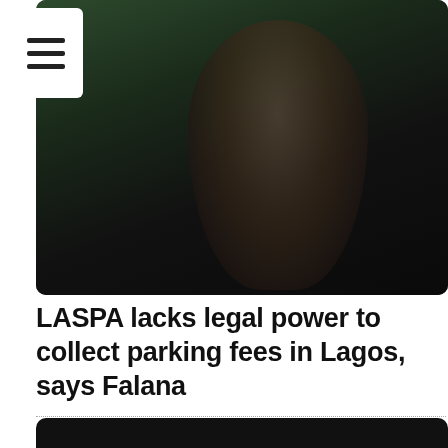[Figure (photo): A person speaking, photographed in low-light conditions against a dark background with some green tones. The subject appears to be gesturing with their hand and wearing a blue patterned head covering and glasses.]
LASPA lacks legal power to collect parking fees in Lagos, says Falana
[Figure (photo): A second photo, mostly dark/black, partially visible at the bottom of the page.]